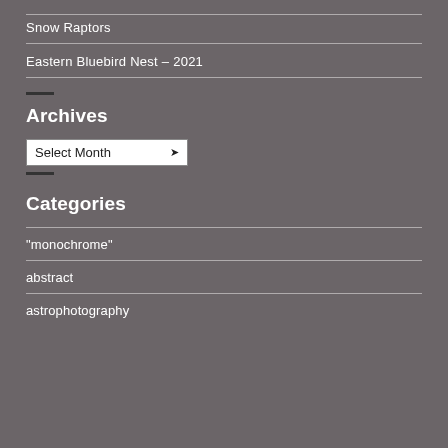Snow Raptors
Eastern Bluebird Nest – 2021
Archives
[Figure (other): A 'Select Month' dropdown form control]
Categories
"monochrome"
abstract
astrophotography